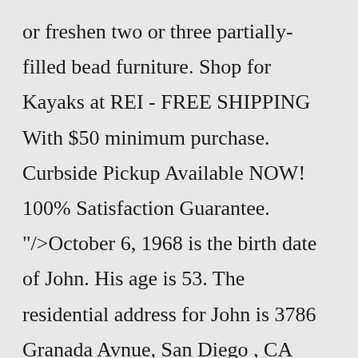or freshen two or three partially-filled bead furniture. Shop for Kayaks at REI - FREE SHIPPING With $50 minimum purchase. Curbside Pickup Available NOW! 100% Satisfaction Guarantee. "/>October 6, 1968 is the birth date of John. His age is 53. The residential address for John is 3786 Granada Avnue, San Diego , CA 92104. He can be reached by phone at (619) 260-8331 (Pacific Bell), (619) 335-0955 (Global